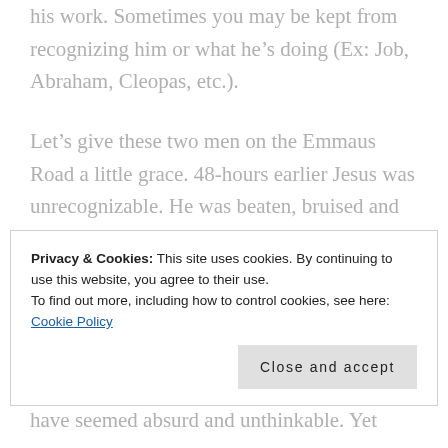his work. Sometimes you may be kept from recognizing him or what he's doing (Ex: Job, Abraham, Cleopas, etc.).
Let's give these two men on the Emmaus Road a little grace. 48-hours earlier Jesus was unrecognizable. He was beaten, bruised and bloody. His beard was plucked. He was naked and scarred. Some of their last images of Jesus were traumatic and
Privacy & Cookies: This site uses cookies. By continuing to use this website, you agree to their use.
To find out more, including how to control cookies, see here: Cookie Policy
have seemed absurd and unthinkable. Yet